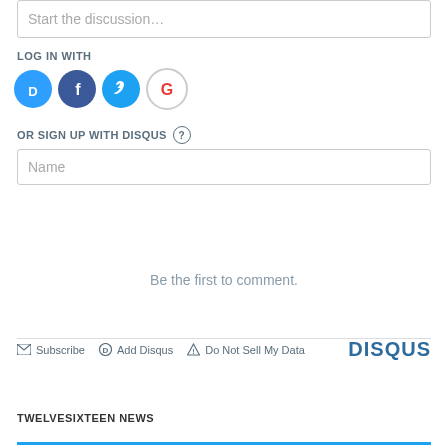Start the discussion…
LOG IN WITH
[Figure (logo): Social login icons: Disqus (blue D), Facebook (dark blue f), Twitter (light blue bird), Google (red G)]
OR SIGN UP WITH DISQUS ?
Name
Be the first to comment.
Subscribe  Add Disqus  Do Not Sell My Data   DISQUS
TWELVESIXTEEN NEWS